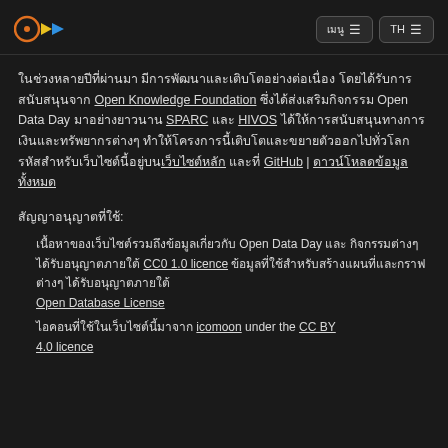Logo | เมนู | TH
Thai text paragraph mentioning Open Knowledge Foundation, Open Data Day, SPARC, HIVOS, GitHub links and related resources.
สัญญาอนุญาตที่ใช้:
Thai text about Open Data Day under CC0 1.0 licence
Thai text with Open Database License
Thai text about icomoon under the CC BY 4.0 licence